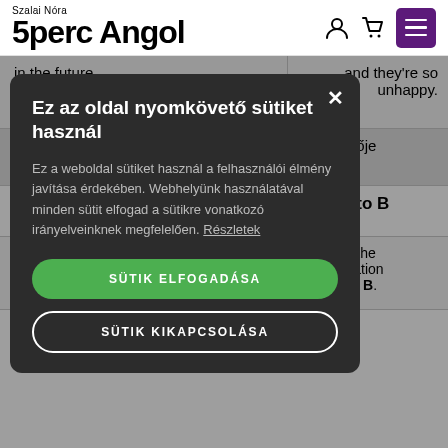Szalai Nóra 5perc Angol
in the future.
and they're so unhappy.
nincs jövője
from A to B
er to use the transportation from A to B.
Ez az oldal nyomkövető sütiket használ
Ez a weboldal sütiket használ a felhasználói élmény javítása érdekében. Webhelyünk használatával minden sütit elfogad a sütikre vonatkozó irányelveinknek megfelelően. Részletek
SÜTIK ELFOGADÁSA
SÜTIK KIKAPCSOLÁSA